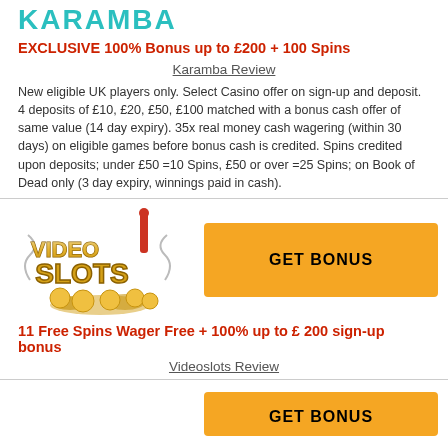KARAMBA
EXCLUSIVE 100% Bonus up to £200 + 100 Spins
Karamba Review
New eligible UK players only. Select Casino offer on sign-up and deposit. 4 deposits of £10, £20, £50, £100 matched with a bonus cash offer of same value (14 day expiry). 35x real money cash wagering (within 30 days) on eligible games before bonus cash is credited. Spins credited upon deposits; under £50 =10 Spins, £50 or over =25 Spins; on Book of Dead only (3 day expiry, winnings paid in cash).
[Figure (logo): VideoSlots casino logo with golden text and slot machine imagery]
GET BONUS
11 Free Spins Wager Free + 100% up to £ 200 sign-up bonus
Videoslots Review
GET BONUS